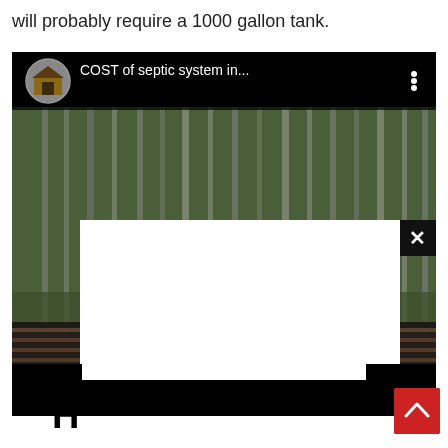will probably require a 1000 gallon tank.
[Figure (screenshot): A YouTube video embed showing 'COST of septic system in...' with a channel avatar (circular thumbnail of a house), forest background with tall trees, a man in a red shirt visible, and a white popup overlay with a black X close button. Black bars are visible at the bottom corners.]
H